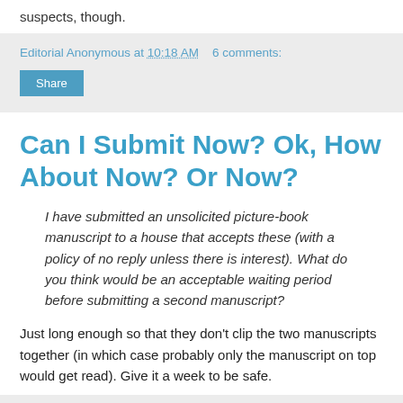suspects, though.
Editorial Anonymous at 10:18 AM   6 comments:
Share
Can I Submit Now? Ok, How About Now? Or Now?
I have submitted an unsolicited picture-book manuscript to a house that accepts these (with a policy of no reply unless there is interest). What do you think would be an acceptable waiting period before submitting a second manuscript?
Just long enough so that they don't clip the two manuscripts together (in which case probably only the manuscript on top would get read). Give it a week to be safe.
Editorial Anonymous at 12:14 AM   8 comments: